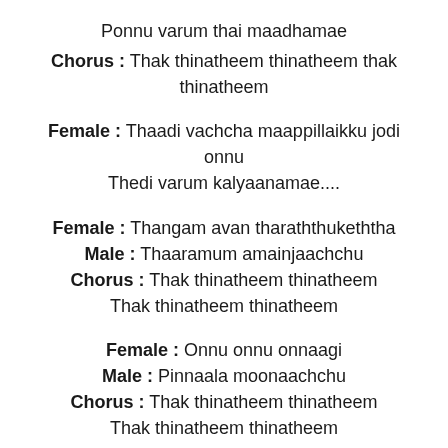Ponnu varum thai maadhamae
Chorus : Thak thinatheem thinatheem thak thinatheem
Female : Thaadi vachcha maappillaikku jodi onnu
Thedi varum kalyaanamae....
Female : Thangam avan tharaththukeththa
Male : Thaaramum amainjaachchu
Chorus : Thak thinatheem thinatheem
Thak thinatheem thinatheem
Female : Onnu onnu onnaagi
Male : Pinnaala moonaachchu
Chorus : Thak thinatheem thinatheem
Thak thinatheem thinatheem
Male : Mangaiyin mugaththil santhosa